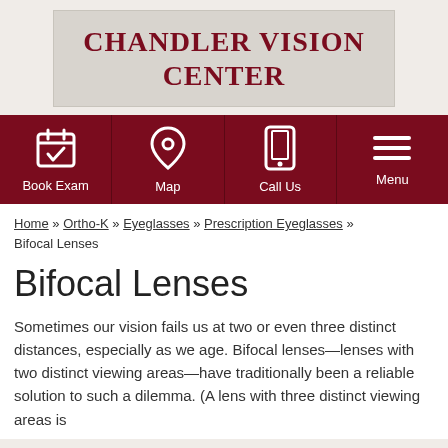[Figure (logo): Chandler Vision Center logo — text on grey textured background]
[Figure (infographic): Dark red navigation bar with four icons: Book Exam (calendar with checkmark), Map (location pin), Call Us (mobile phone), Menu (hamburger lines)]
Home » Ortho-K » Eyeglasses » Prescription Eyeglasses » Bifocal Lenses
Bifocal Lenses
Sometimes our vision fails us at two or even three distinct distances, especially as we age. Bifocal lenses—lenses with two distinct viewing areas—have traditionally been a reliable solution to such a dilemma. (A lens with three distinct viewing areas is